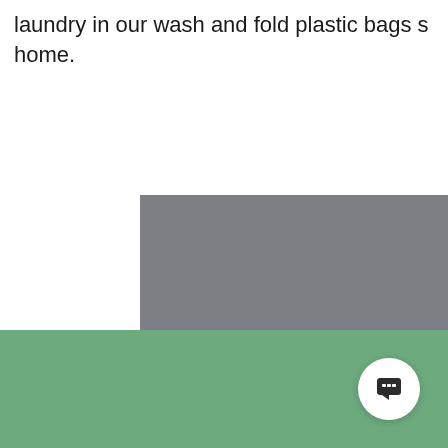laundry in our wash and fold plastic bags s home.
[Figure (photo): A person wearing gloves handling laundry bags near a red and dark machine or container in a laundromat or laundry service setting.]